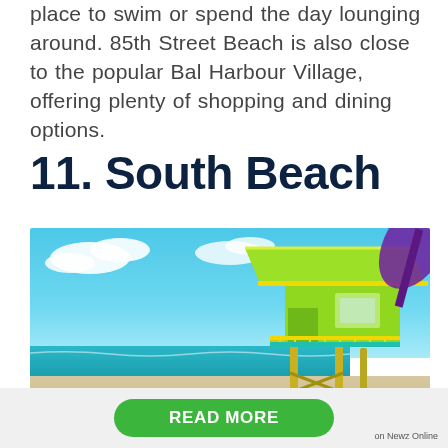place to swim or spend the day lounging around. 85th Street Beach is also close to the popular Bal Harbour Village, offering plenty of shopping and dining options.
11. South Beach
[Figure (photo): A colorful green and yellow lifeguard tower with a purple umbrella at South Beach, Miami, under a blue sky with white clouds and the ocean in the background.]
READ MORE
on Newz Online